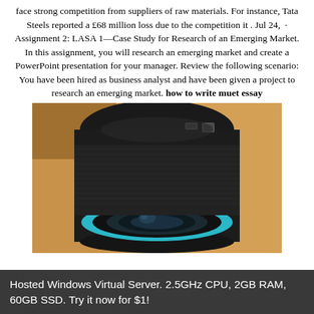face strong competition from suppliers of raw materials. For instance, Tata Steels reported a £68 million loss due to the competition it . Jul 24,  · Assignment 2: LASA 1—Case Study for Research of an Emerging Market. In this assignment, you will research an emerging market and create a PowerPoint presentation for your manager. Review the following scenario: You have been hired as business analyst and have been given a project to research an emerging market. how to write muet essay
[Figure (photo): Close-up photo of a black cylindrical camera lens/action camera with a teal/blue ring around the lens opening, with buttons on top, set against a warm orange/brown background.]
Hosted Windows Virtual Server. 2.5GHz CPU, 2GB RAM, 60GB SSD. Try it now for $1!